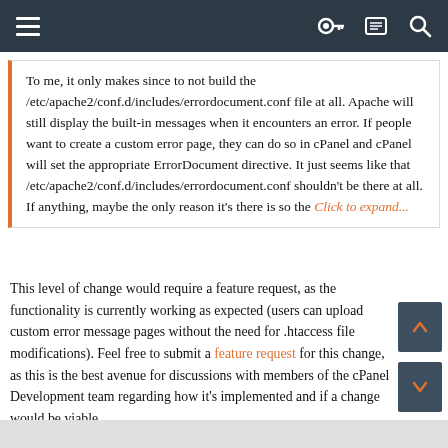Navigation bar with menu, key, list, and search icons
To me, it only makes since to not build the /etc/apache2/conf.d/includes/errordocument.conf file at all. Apache will still display the built-in messages when it encounters an error. If people want to create a custom error page, they can do so in cPanel and cPanel will set the appropriate ErrorDocument directive. It just seems like that /etc/apache2/conf.d/includes/errordocument.conf shouldn't be there at all. If anything, maybe the only reason it's there is so the Click to expand...
This level of change would require a feature request, as the functionality is currently working as expected (users can upload custom error message pages without the need for .htaccess file modifications). Feel free to submit a feature request for this change, as this is the best avenue for discussions with members of the cPanel Development team regarding how it's implemented and if a change would be viable.

Thanks!